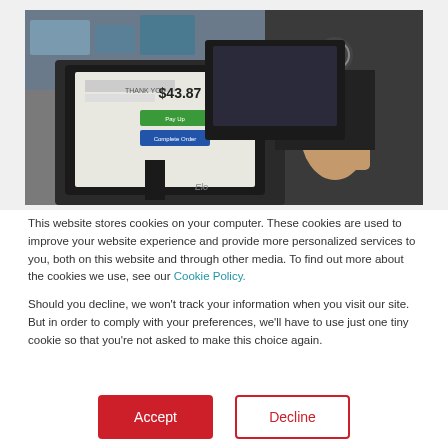[Figure (photo): Photo of a retail point-of-sale terminal/tablet screen showing a payment amount of $43.87 with green and blue action buttons, with a person in dark clothing visible in the background holding the device.]
This website stores cookies on your computer. These cookies are used to improve your website experience and provide more personalized services to you, both on this website and through other media. To find out more about the cookies we use, see our Cookie Policy.
Should you decline, we won't track your information when you visit our site. But in order to comply with your preferences, we'll have to use just one tiny cookie so that you're not asked to make this choice again.